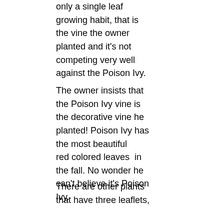only a single leaf growing habit, that is the vine the owner planted and it's not competing very well against the Poison Ivy.
The owner insists that the Poison Ivy vine is the decorative vine he planted! Poison Ivy has the most beautiful red colored leaves  in the fall. No wonder he can't believe it's Poison Ivy.
There are other plants that have three leaflets,